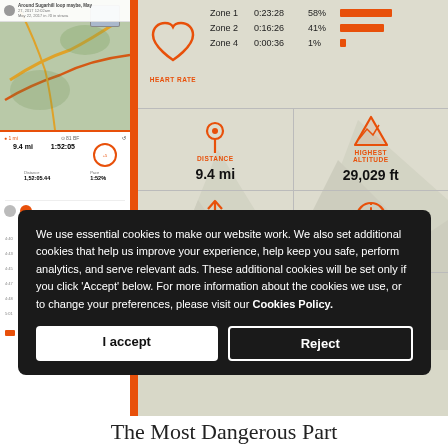[Figure (screenshot): Strava fitness tracking app screenshot showing a phone mockup on left with a map and activity stats, and on the right a metrics panel showing Heart Rate zones (Zone 1: 0:23:28 58%, Zone 2: 0:16:26 41%, Zone 4: 0:00:36 1%), Distance: 9.4 mi, Highest Altitude: 29,029 ft, Elevation: 2,202 ft, Pace: 1:52:05, Calories: 1,576, GAP: 1:27:00]
We use essential cookies to make our website work. We also set additional cookies that help us improve your experience, help keep you safe, perform analytics, and serve relevant ads. These additional cookies will be set only if you click 'Accept' below. For more information about the cookies we use, or to change your preferences, please visit our Cookies Policy.
The Most Dangerous Part